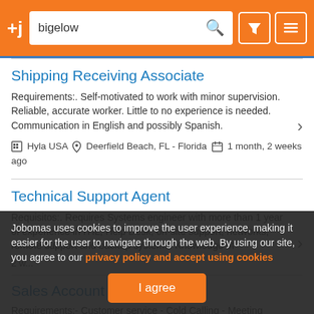+j  bigelow [search] [filter] [menu]
Shipping Receiving Associate
Requirements:. Self-motivated to work with minor supervision. Reliable, accurate worker. Little to no experience is needed. Communication in English and possibly Spanish.
Hyla USA  Deerfield Beach, FL - Florida  1 month, 2 weeks ago
Technical Support Agent
Requisitos:. Requires Systems engineer with more than 1 year of experience in ITIL, Help Desk, on-site support, networks, remote support and backup systems. Knowledge of
2 w...
Sales Account Exec...
Requirements:- Customer service - Cold Calling - Meeting
Jobomas uses cookies to improve the user experience, making it easier for the user to navigate through the web. By using our site, you agree to our privacy policy and accept using cookies